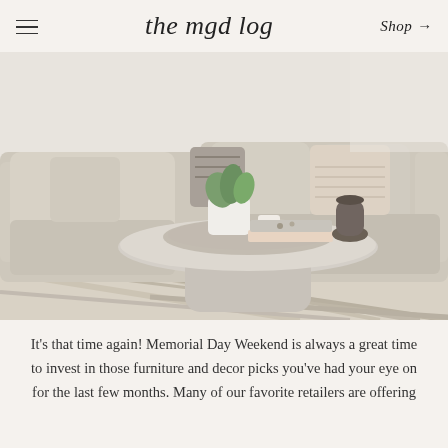the mgd log  Shop →
[Figure (photo): A styled living room with a large linen sectional sofa in beige/natural tones, multiple throw pillows, a round concrete/stone coffee table displaying a woven tray with a white plant pot holding greenery, a candle, stacked books, and a dark sculptural vase. A striped area rug is visible on the floor beneath.]
It's that time again! Memorial Day Weekend is always a great time to invest in those furniture and decor picks you've had your eye on for the last few months. Many of our favorite retailers are offering